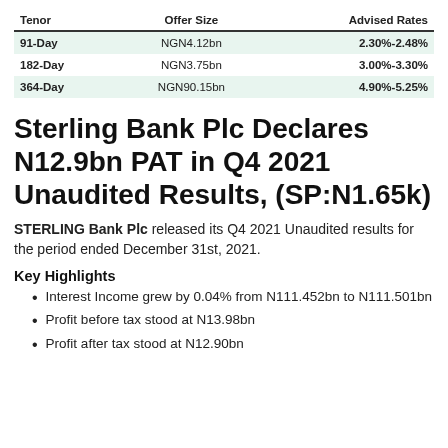| Tenor | Offer Size | Advised Rates |
| --- | --- | --- |
| 91-Day | NGN4.12bn | 2.30%-2.48% |
| 182-Day | NGN3.75bn | 3.00%-3.30% |
| 364-Day | NGN90.15bn | 4.90%-5.25% |
Sterling Bank Plc Declares N12.9bn PAT in Q4 2021 Unaudited Results, (SP:N1.65k)
STERLING Bank Plc released its Q4 2021 Unaudited results for the period ended December 31st, 2021.
Key Highlights
Interest Income grew by 0.04% from N111.452bn to N111.501bn
Profit before tax stood at N13.98bn
Profit after tax stood at N12.90bn